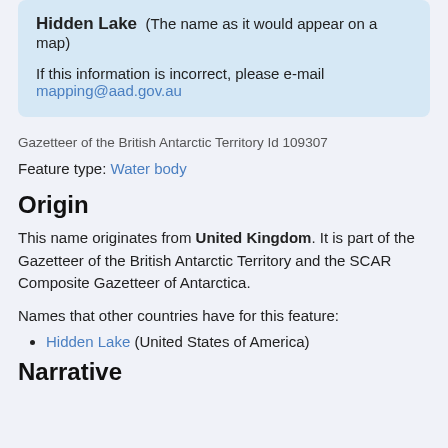Hidden Lake  (The name as it would appear on a map)

If this information is incorrect, please e-mail mapping@aad.gov.au
Gazetteer of the British Antarctic Territory Id 109307
Feature type: Water body
Origin
This name originates from United Kingdom. It is part of the Gazetteer of the British Antarctic Territory and the SCAR Composite Gazetteer of Antarctica.
Names that other countries have for this feature:
Hidden Lake (United States of America)
Narrative